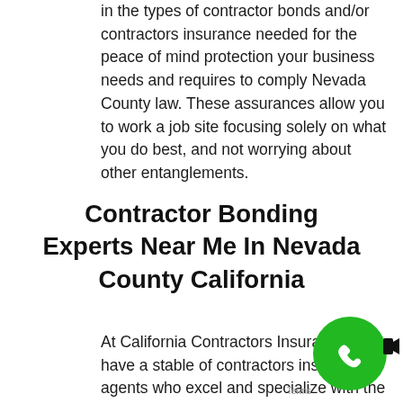in the types of contractor bonds and/or contractors insurance needed for the peace of mind protection your business needs and requires to comply Nevada County law. These assurances allow you to work a job site focusing solely on what you do best, and not worrying about other entanglements.
Contractor Bonding Experts Near Me In Nevada County California
At California Contractors Insurance, we have a stable of contractors insurance agents who excel and specialize with the types of insur (or in this case, contractor bonds) necessar work as an independent contractor in Nevada